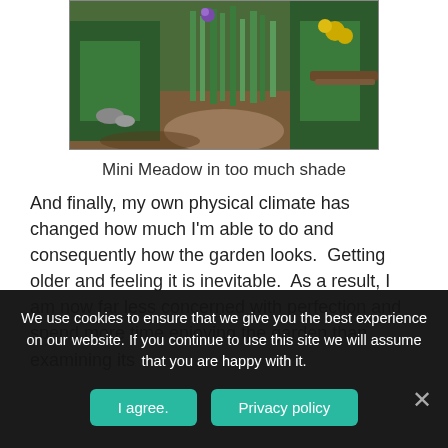[Figure (photo): Garden photo showing a mini meadow with lush green grasses and wildflowers including purple and yellow blooms, with a dirt path and wooden border, in a shaded setting.]
Mini Meadow in too much shade
And finally, my own physical climate has changed how much I'm able to do and consequently how the garden looks.  Getting older and feeling it is inevitable.  As a result, I am now far less concerned with perfection and spend more time enjoying the garden than examining its
We use cookies to ensure that we give you the best experience on our website. If you continue to use this site we will assume that you are happy with it.
I agree.
Privacy policy